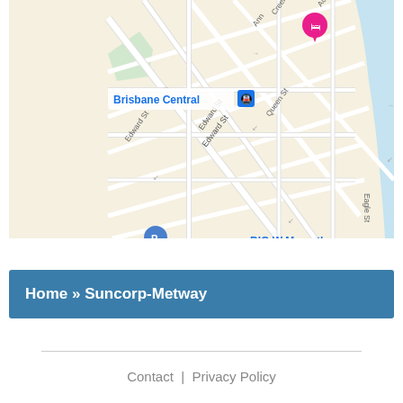[Figure (map): Google Maps screenshot showing Brisbane CBD area with landmarks: Brisbane Central (train station), Pig 'N' Whistle Riverside (bar), BIG W Macarthur, Riparian Plaza, Secure Parking, King George Car Park, Queen St Mall. Streets include Edward St, Queen St, Eagle St, Adelaide St, Ann Creek St.]
Home » Suncorp-Metway
Contact | Privacy Policy